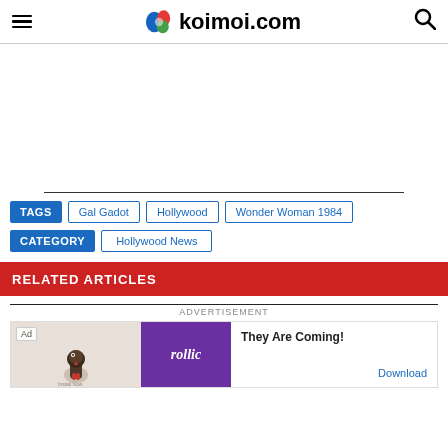koimoi.com
TAGS  Gal Gadot  Hollywood  Wonder Woman 1984
CATEGORY  Hollywood News
RELATED ARTICLES
ADVERTISEMENT
[Figure (screenshot): Rollic game advertisement: They Are Coming! with Download button]